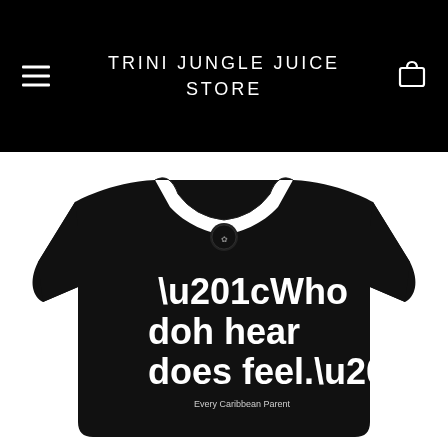TRINI JUNGLE JUICE STORE
[Figure (photo): Black t-shirt with white bold text reading "Who doh hear does feel." and subtitle "Every Caribbean Parent", displayed on a white background. The shirt has a small logo at the collar.]